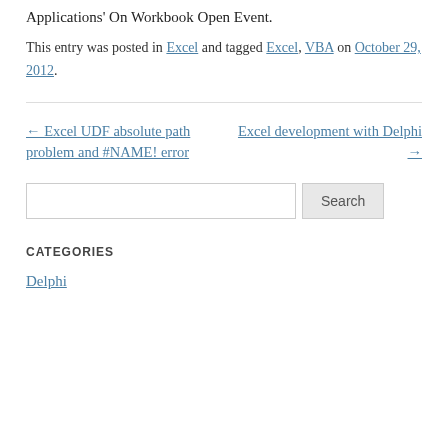Applications' On Workbook Open Event.
This entry was posted in Excel and tagged Excel, VBA on October 29, 2012.
← Excel UDF absolute path problem and #NAME! error
Excel development with Delphi →
Search
CATEGORIES
Delphi